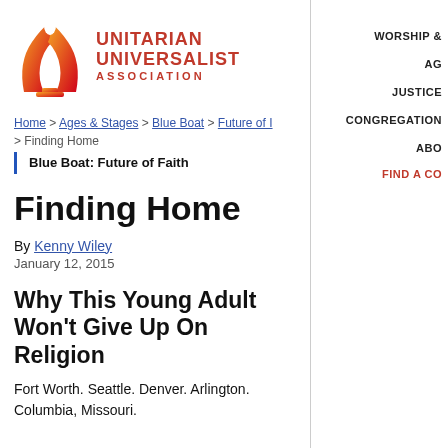[Figure (logo): Unitarian Universalist Association logo with flame icon and red text]
WORSHIP &
AG
JUSTICE
CONGREGATION
ABO
FIND A CO
Home > Ages & Stages > Blue Boat > Future of I > Finding Home
Blue Boat: Future of Faith
Finding Home
By Kenny Wiley
January 12, 2015
Why This Young Adult Won't Give Up On Religion
Fort Worth. Seattle. Denver. Arlington. Columbia, Missouri.